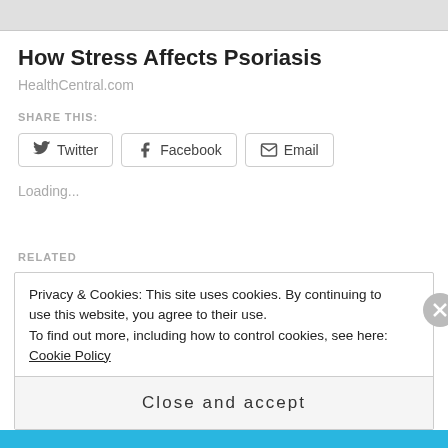[Figure (photo): Partial top of a photo/image visible at the top of the page]
How Stress Affects Psoriasis
HealthCentral.com
SHARE THIS:
Twitter  Facebook  Email (share buttons)
Loading...
RELATED
Privacy & Cookies: This site uses cookies. By continuing to use this website, you agree to their use.
To find out more, including how to control cookies, see here: Cookie Policy
Close and accept